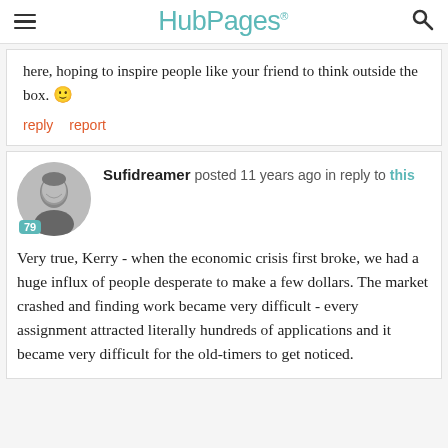HubPages
here, hoping to inspire people like your friend to think outside the box. 🙂
reply   report
Sufidreamer posted 11 years ago in reply to this
Very true, Kerry - when the economic crisis first broke, we had a huge influx of people desperate to make a few dollars. The market crashed and finding work became very difficult - every assignment attracted literally hundreds of applications and it became very difficult for the old-timers to get noticed.